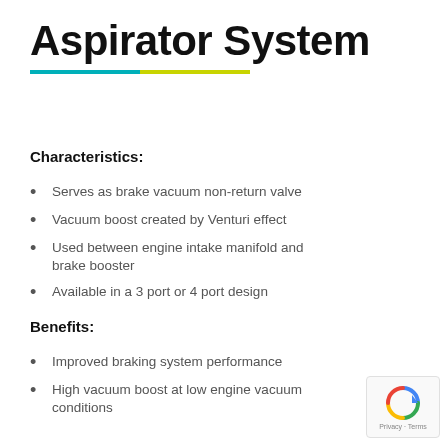Aspirator System
Characteristics:
Serves as brake vacuum non-return valve
Vacuum boost created by Venturi effect
Used between engine intake manifold and brake booster
Available in a 3 port or 4 port design
Benefits:
Improved braking system performance
High vacuum boost at low engine vacuum conditions